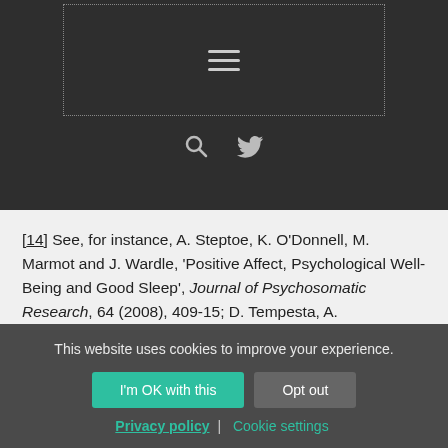Navigation header with hamburger menu, search icon, and Twitter icon
[14] See, for instance, A. Steptoe, K. O'Donnell, M. Marmot and J. Wardle, 'Positive Affect, Psychological Well-Being and Good Sleep', Journal of Psychosomatic Research, 64 (2008), 409-15; D. Tempesta, A. Couyoumdjian, G. Curcio, F. Moroni, C. Marzano, L. De Gennaro, and M. Ferrara, 'Lack of Sleep Affects the Evaluation of Emotional Stimuli', Brain Research Bulletin, 82 (2010), 194-208; Culpin, The Business of Sleep, pp. 69-77.
This website uses cookies to improve your experience.
I'm OK with this | Opt out | Privacy policy | Cookie settings